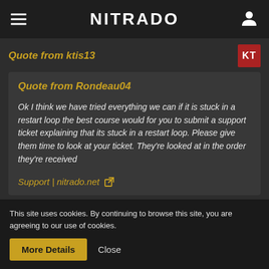NITRADO
Quote from ktis13
Quote from Rondeau04
Ok I think we have tried everything we can if it is stuck in a restart loop the best course would for you to submit a support ticket explaining that its stuck in a restart loop. Please give them time to look at your ticket. They're looked at in the order they're received
Support | nitrado.net
just submit a ticket. I appreciate the help
This site uses cookies. By continuing to browse this site, you are agreeing to our use of cookies.